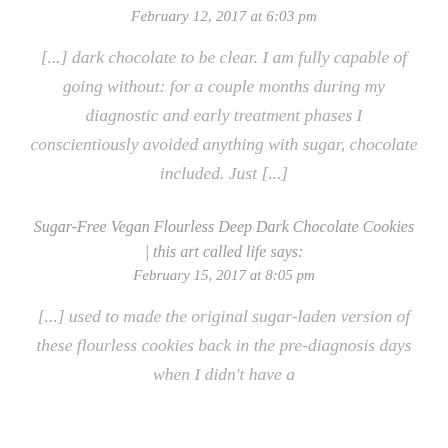February 12, 2017 at 6:03 pm
[...] dark chocolate to be clear. I am fully capable of going without: for a couple months during my diagnostic and early treatment phases I conscientiously avoided anything with sugar, chocolate included. Just [...]
Sugar-Free Vegan Flourless Deep Dark Chocolate Cookies | this art called life says:
February 15, 2017 at 8:05 pm
[...] used to made the original sugar-laden version of these flourless cookies back in the pre-diagnosis days when I didn't have a